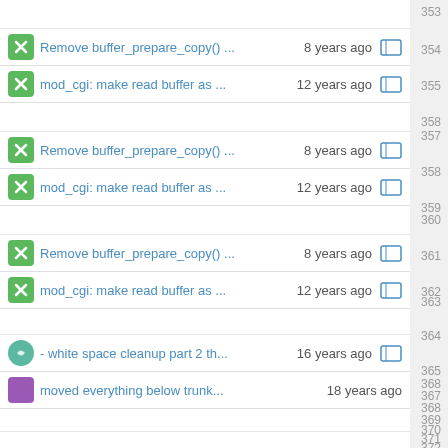353
Remove buffer_prepare_copy() ... 8 years ago 354
mod_cgi: make read buffer as ... 12 years ago 355
358
Remove buffer_prepare_copy() ... 8 years ago 357
mod_cgi: make read buffer as ... 12 years ago 358
359
Remove buffer_prepare_copy() ... 8 years ago 360
mod_cgi: make read buffer as ... 12 years ago 361
362
- white space cleanup part 2 th... 16 years ago 363
moved everything below trunk... 18 years ago 364
365
366
367
368
369
370
371
372
- white space cleanup part 2 th... 16 years ago 373